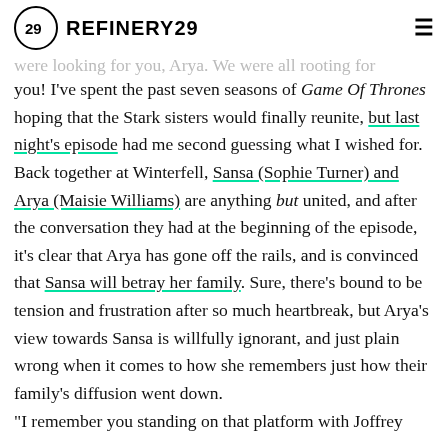REFINERY29
were looking for you, Arya. We were all rooting for you! I've spent the past seven seasons of Game Of Thrones hoping that the Stark sisters would finally reunite, but last night's episode had me second guessing what I wished for. Back together at Winterfell, Sansa (Sophie Turner) and Arya (Maisie Williams) are anything but united, and after the conversation they had at the beginning of the episode, it's clear that Arya has gone off the rails, and is convinced that Sansa will betray her family. Sure, there's bound to be tension and frustration after so much heartbreak, but Arya's view towards Sansa is willfully ignorant, and just plain wrong when it comes to how she remembers just how their family's diffusion went down.
"I remember you standing on that platform with Joffrey